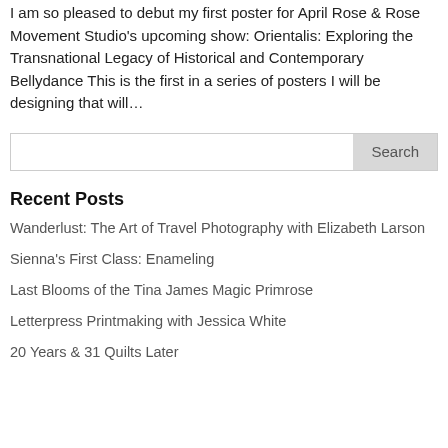I am so pleased to debut my first poster for April Rose & Rose Movement Studio's upcoming show: Orientalis: Exploring the Transnational Legacy of Historical and Contemporary Bellydance This is the first in a series of posters I will be designing that will…
Search
Recent Posts
Wanderlust: The Art of Travel Photography with Elizabeth Larson
Sienna's First Class: Enameling
Last Blooms of the Tina James Magic Primrose
Letterpress Printmaking with Jessica White
20 Years & 31 Quilts Later